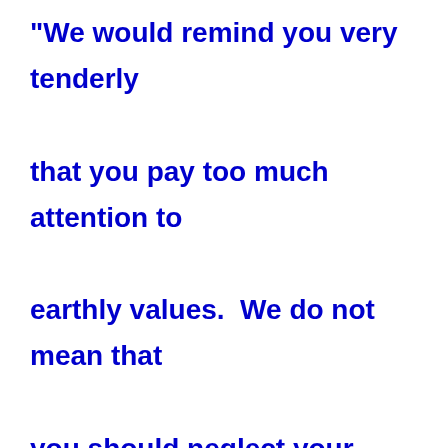“We would remind you very tenderly that you pay too much attention to earthly values.  We do not mean that you should neglect your earthly duties, but we suggest that you should get a clearer understanding of the relative values of spiritual and earthly things; for so much that you consider